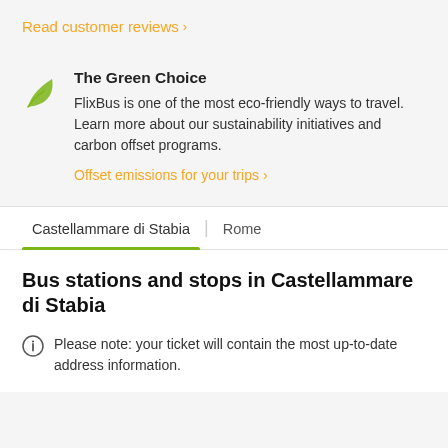Read customer reviews >
The Green Choice
FlixBus is one of the most eco-friendly ways to travel. Learn more about our sustainability initiatives and carbon offset programs.
Offset emissions for your trips >
Castellammare di Stabia | Rome
Bus stations and stops in Castellammare di Stabia
Please note: your ticket will contain the most up-to-date address information.